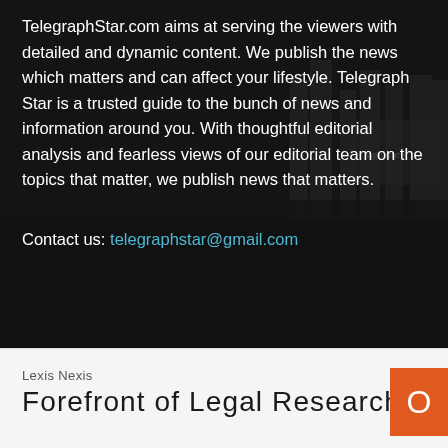TelegraphStar.com aims at serving the viewers with detailed and dynamic content. We publish the news which matters and can affect your lifestyle. Telegraph Star is a trusted guide to the bunch of news and information around you. With thoughtful editorial analysis and fearless views of our editorial team on the topics that matter, we publish news that matters.
Contact us: telegraphstar@gmail.com
© Telegraph Star 2021
Lexis Nexis
Forefront of Legal Research